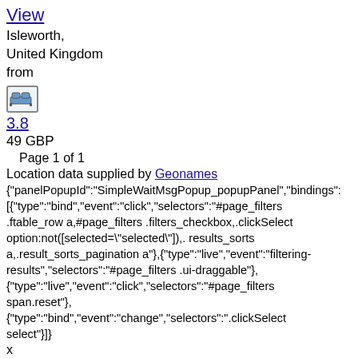View
Isleworth,
United Kingdom
from
[Figure (illustration): Small icon of a bed/accommodation symbol inside a bordered box]
3.8
49 GBP
Page 1 of 1
Location data supplied by Geonames
{"panelPopupId":"SimpleWaitMsgPopup_popupPanel","bindings":[{"type":"bind","event":"click","selectors":"#page_filters .ftable_row a,#page_filters .filters_checkbox,.clickSelect option:not([selected=\"selected\"]),. results_sorts a,.result_sorts_pagination a"},{"type":"live","event":"filtering-results","selectors":"#page_filters .ui-draggable"},{"type":"live","event":"click","selectors":"#page_filters span.reset"},{"type":"bind","event":"change","selectors":".clickSelect select"}]}
x
Your online privacy is important to us, we use cookies for the sole purpose of improving your browsing experience. By continuing to use this site you are accepting our cookie policies. Read more